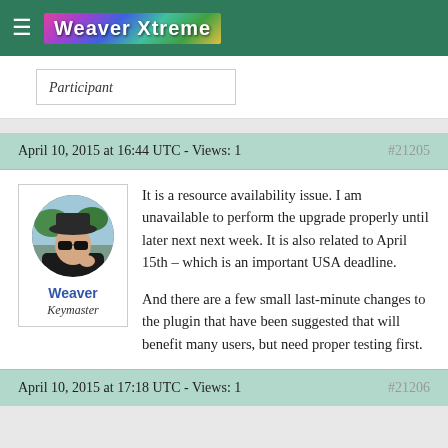Weaver Xtreme
Participant
April 10, 2015 at 16:44 UTC - Views: 1  #21205
[Figure (photo): Circular avatar photo of Weaver (person wearing hat and sunglasses), with name 'Weaver' and role 'Keymaster' below]
It is a resource availability issue. I am unavailable to perform the upgrade properly until later next next week. It is also related to April 15th – which is an important USA deadline.

And there are a few small last-minute changes to the plugin that have been suggested that will benefit many users, but need proper testing first.
April 10, 2015 at 17:18 UTC - Views: 1  #21206